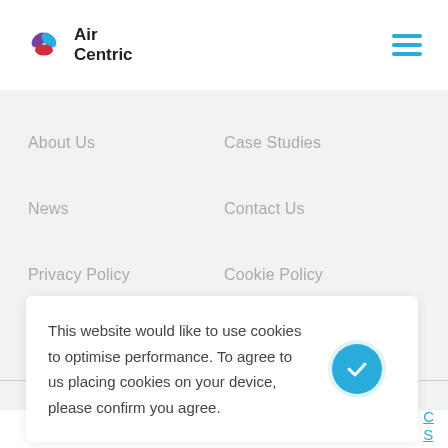[Figure (logo): Air Centric logo with colorful petals (purple, blue, red) and text 'Air Centric']
[Figure (other): Hamburger menu icon with three horizontal blue lines]
About Us
Case Studies
News
Contact Us
Privacy Policy
Cookie Policy
This website would like to use cookies to optimise performance. To agree to us placing cookies on your device, please confirm you agree.